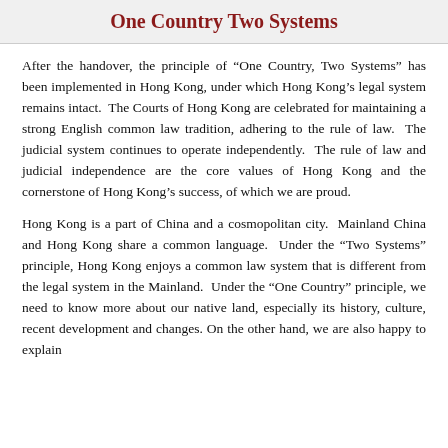One Country Two Systems
After the handover, the principle of “One Country, Two Systems” has been implemented in Hong Kong, under which Hong Kong’s legal system remains intact.  The Courts of Hong Kong are celebrated for maintaining a strong English common law tradition, adhering to the rule of law.  The judicial system continues to operate independently.  The rule of law and judicial independence are the core values of Hong Kong and the cornerstone of Hong Kong’s success, of which we are proud.
Hong Kong is a part of China and a cosmopolitan city.  Mainland China and Hong Kong share a common language.  Under the “Two Systems” principle, Hong Kong enjoys a common law system that is different from the legal system in the Mainland.  Under the “One Country” principle, we need to know more about our native land, especially its history, culture, recent development and changes. On the other hand, we are also happy to explain